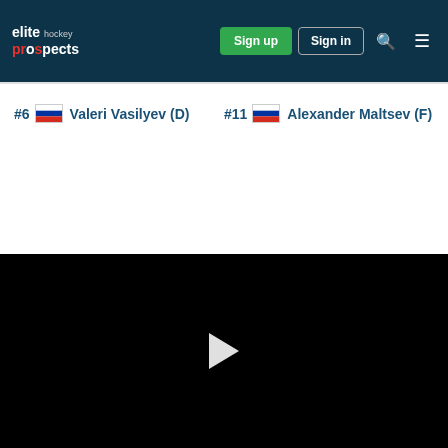elite hockey prospects — Sign up | Sign in
#6 Valeri Vasilyev (D)
#11 Alexander Maltsev (F)
[Figure (other): Black video player area with a white play button triangle in the center]